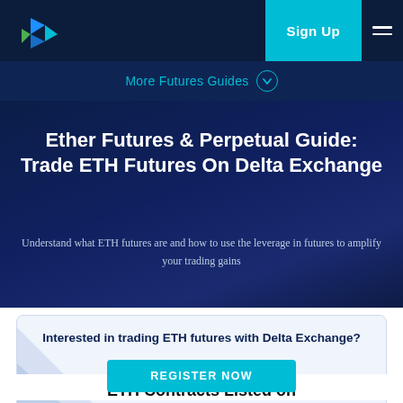Sign Up
More Futures Guides
Ether Futures & Perpetual Guide: Trade ETH Futures On Delta Exchange
Understand what ETH futures are and how to use the leverage in futures to amplify your trading gains
Interested in trading ETH futures with Delta Exchange?
REGISTER NOW
ETH Contracts Listed on Delta Exchange